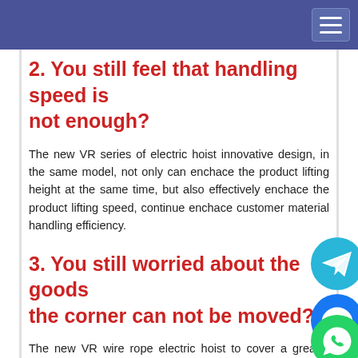2. You still feel that handling speed is not enough?
The new VR series of electric hoist innovative design, in the same model, not only can enchace the product lifting height at the same time, but also effectively enchace the product lifting speed, continue enchace customer material handling efficiency.
3. You still worried about the goods the corner can not be moved?
The new VR wire rope electric hoist to cover a greater range of operations, increasing the utilization